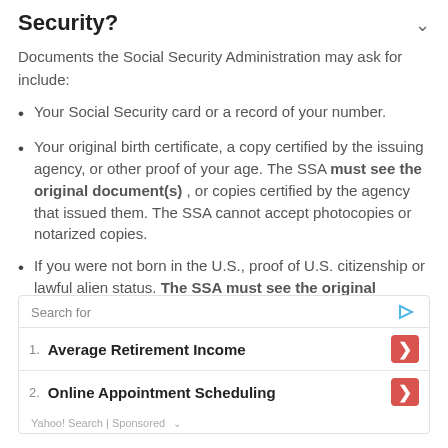Security?
Documents the Social Security Administration may ask for include:
Your Social Security card or a record of your number.
Your original birth certificate, a copy certified by the issuing agency, or other proof of your age. The SSA must see the original document(s) , or copies certified by the agency that issued them. The SSA cannot accept photocopies or notarized copies.
If you were not born in the U.S., proof of U.S. citizenship or lawful alien status. The SSA must see the original document(s) , or copies certified by the agency that issued them. The SSA cannot accept
[Figure (infographic): Yahoo Search sponsored ad block with 'Search for' header and two results: 1. Average Retirement Income, 2. Online Appointment Scheduling, each with a red arrow button. Footer: Yahoo! Search | Sponsored with a down chevron.]